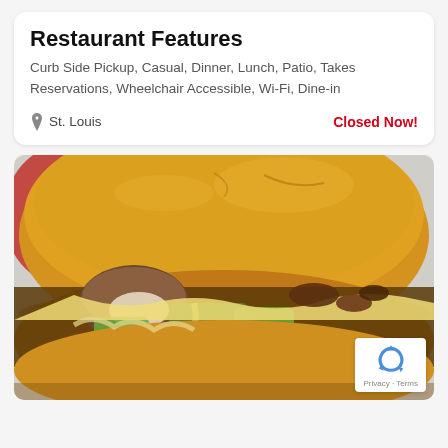Restaurant Features
Curb Side Pickup, Casual, Dinner, Lunch, Patio, Takes Reservations, Wheelchair Accessible, Wi-Fi, Dine-in
St. Louis
Closed Now!
[Figure (photo): Close-up photo of a sandwich (cheesesteak-style) with mushrooms, green peppers, melted cheese, and meat on a toasted bun, with a reCAPTCHA badge in the bottom-right corner.]